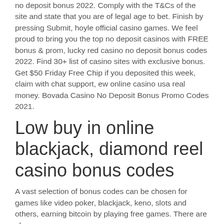no deposit bonus 2022. Comply with the T&Cs of the site and state that you are of legal age to bet. Finish by pressing Submit, hoyle official casino games. We feel proud to bring you the top no deposit casinos with FREE bonus & prom, lucky red casino no deposit bonus codes 2022. Find 30+ list of casino sites with exclusive bonus. Get $50 Friday Free Chip if you deposited this week, claim with chat support, ew online casino usa real money. Bovada Casino No Deposit Bonus Promo Codes 2021.
Low buy in online blackjack, diamond reel casino bonus codes
A vast selection of bonus codes can be chosen for games like video poker, blackjack, keno, slots and others, earning bitcoin by playing free games. There are also